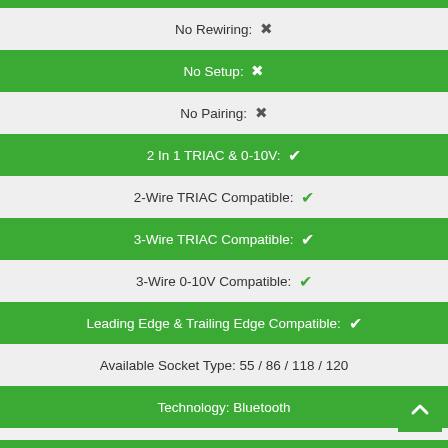No Rewiring: ✗
No Setup: ✗
No Pairing: ✗
2 In 1 TRIAC & 0-10V: ✓
2-Wire TRIAC Compatible: ✓
3-Wire TRIAC Compatible: ✓
3-Wire 0-10V Compatible: ✓
Leading Edge & Trailing Edge Compatible: ✓
Available Socket Type: 55 / 86 / 118 / 120
Technology: Bluetooth